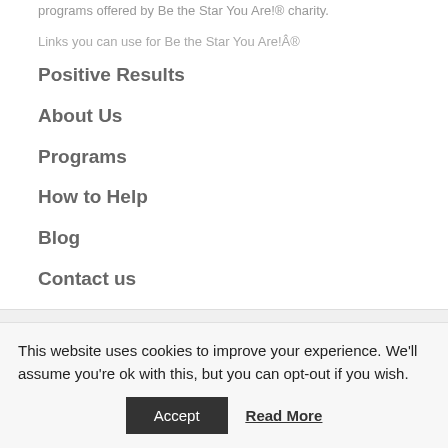programs offered by Be the Star You Are!® charity.
Links you can use for Be the Star You Are!Â®
Positive Results
About Us
Programs
How to Help
Blog
Contact us
This website uses cookies to improve your experience. We'll assume you're ok with this, but you can opt-out if you wish.
Accept   Read More